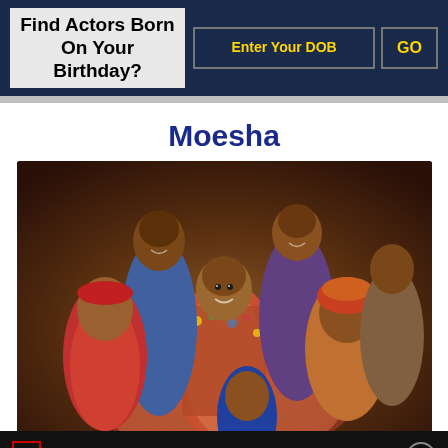Find Actors Born On Your Birthday?
Enter Your DOB
GO
Moesha
[Figure (photo): Cast photo of the TV show Moesha, showing multiple cast members smiling together in colorful outfits]
Top 10 BEST Sound of Music Songs